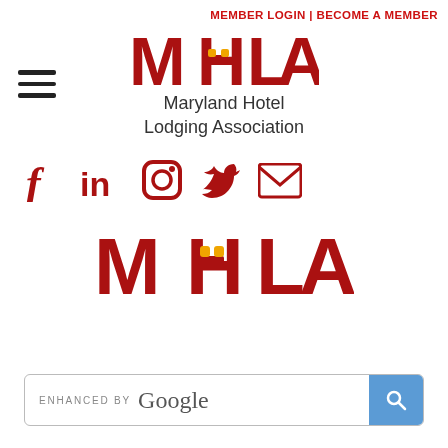MEMBER LOGIN | BECOME A MEMBER
[Figure (logo): MHLA Maryland Hotel Lodging Association logo with hamburger menu icon]
[Figure (infographic): Social media icons: Facebook, LinkedIn, Instagram, Twitter, Email]
[Figure (logo): MHLA large logo text]
ENHANCED BY Google (search bar with blue search button)